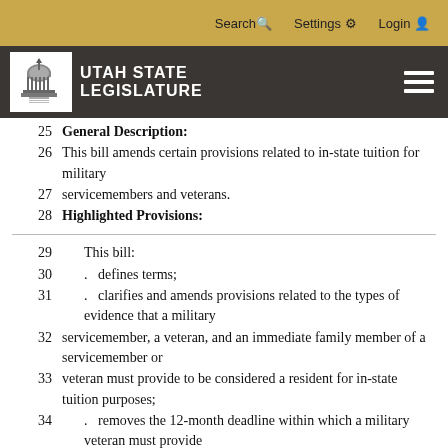Search  Settings  Login
UTAH STATE LEGISLATURE
25    General Description:
26    This bill amends certain provisions related to in-state tuition for military
27    servicemembers and veterans.
28    Highlighted Provisions:
29    This bill:
30    .   defines terms;
31    .   clarifies and amends provisions related to the types of evidence that a military
32    servicemember, a veteran, and an immediate family member of a servicemember or
33    veteran must provide to be considered a resident for in-state tuition purposes;
34    .   removes the 12-month deadline within which a military veteran must provide
35    evidence of an honorable discharge to be considered a resident for in-state tuition